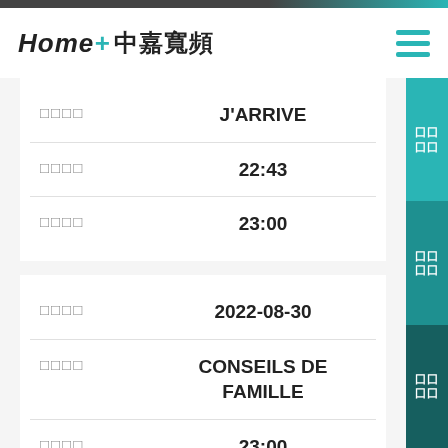Home+ 中嘉寬頻
| 欄位 | 內容 |
| --- | --- |
| □□□□ | J'ARRIVE |
| □□□□ | 22:43 |
| □□□□ | 23:00 |
| 欄位 | 內容 |
| --- | --- |
| □□□□ | 2022-08-30 |
| □□□□ | CONSEILS DE FAMILLE |
| □□□□ | 23:00 |
| □□□□ | 23:24 |